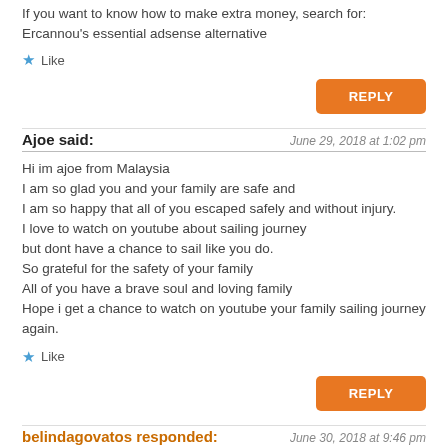If you want to know how to make extra money, search for: Ercannou's essential adsense alternative
★ Like
REPLY
Ajoe said:
June 29, 2018 at 1:02 pm
Hi im ajoe from Malaysia
I am so glad you and your family are safe and
I am so happy that all of you escaped safely and without injury.
I love to watch on youtube about sailing journey
but dont have a chance to sail like you do.
So grateful for the safety of your family
All of you have a brave soul and loving family
Hope i get a chance to watch on youtube your family sailing journey again.
★ Like
REPLY
belindagovatos responded:
June 30, 2018 at 9:46 pm